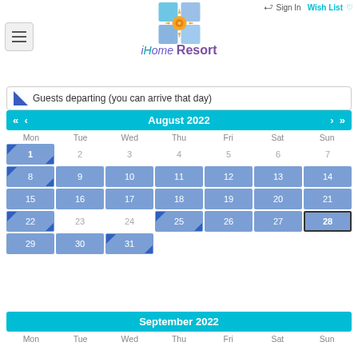[Figure (logo): iHome Resort logo: sun graphic with colored tiles and stylized text]
Guests departing (you can arrive that day)
[Figure (screenshot): August 2022 booking calendar showing available/booked dates with blue highlighted cells and triangle markers]
September 2022